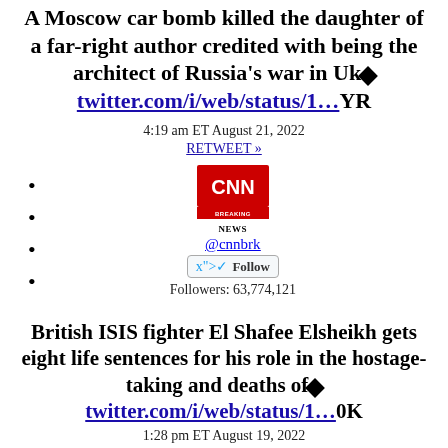A Moscow car bomb killed the daughter of a far-right author credited with being the architect of Russia's war in Uk◆twitter.com/i/web/status/1…YR
4:19 am ET August 21, 2022
RETWEET »
[Figure (logo): CNN Breaking News logo - red rectangle with white CNN text and BREAKING NEWS text below]
@cnnbrk
Follow
Followers: 63,774,121
British ISIS fighter El Shafee Elsheikh gets eight life sentences for his role in the hostage-taking and deaths of◆twitter.com/i/web/status/1…0K
1:28 pm ET August 19, 2022